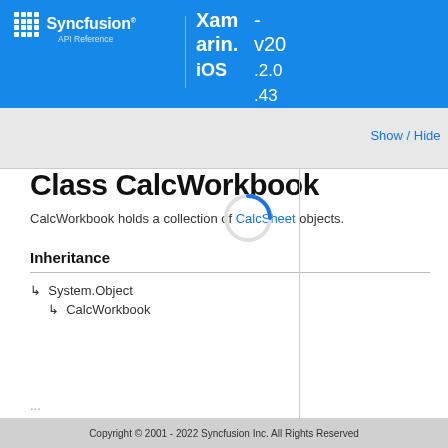Syncfusion API Reference  Xamarin.iOS  v20.2.0.43
Show / Hide
Class CalcWorkbook
CalcWorkbook holds a collection of CalcSheet objects.
Inheritance
↳ System.Object
↳ CalcWorkbook
Copyright © 2001 - 2022 Syncfusion Inc. All Rights Reserved